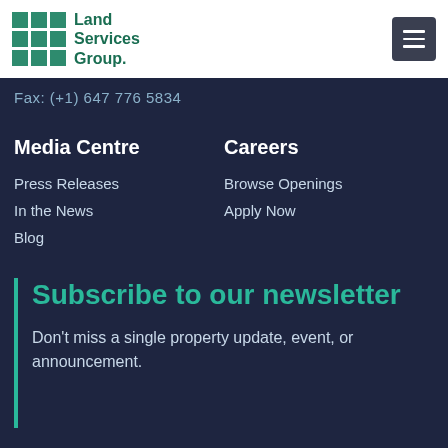Land Services Group
Fax: (+1) 647 776 5834
Media Centre
Careers
Press Releases
In the News
Blog
Browse Openings
Apply Now
Subscribe to our newsletter
Don't miss a single property update, event, or announcement.